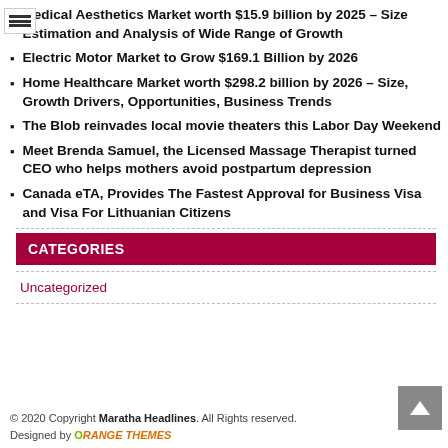Medical Aesthetics Market worth $15.9 billion by 2025 – Size Estimation and Analysis of Wide Range of Growth
Electric Motor Market to Grow $169.1 Billion by 2026
Home Healthcare Market worth $298.2 billion by 2026 – Size, Growth Drivers, Opportunities, Business Trends
The Blob reinvades local movie theaters this Labor Day Weekend
Meet Brenda Samuel, the Licensed Massage Therapist turned CEO who helps mothers avoid postpartum depression
Canada eTA, Provides The Fastest Approval for Business Visa and Visa For Lithuanian Citizens
CATEGORIES
Uncategorized
© 2020 Copyright Maratha Headlines. All Rights reserved. Designed by ORANGE THEMES